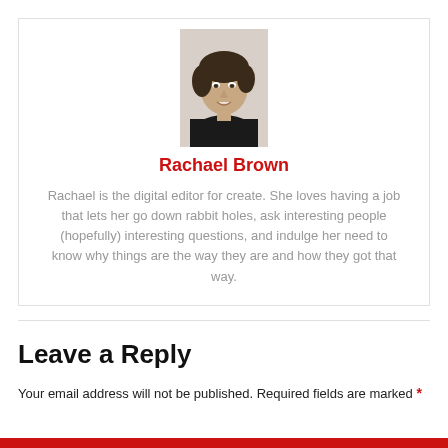[Figure (photo): Headshot photo of Rachael Brown, a woman with short dark wavy hair wearing a black sleeveless top, smiling, on a light background]
Rachael Brown
Rachael is the digital editor for create. She loves having a job that lets her go down rabbit holes, ask interesting people (hopefully) interesting questions, and indulge her need to know why things are the way they are and how they got that way.
Leave a Reply
Your email address will not be published. Required fields are marked *